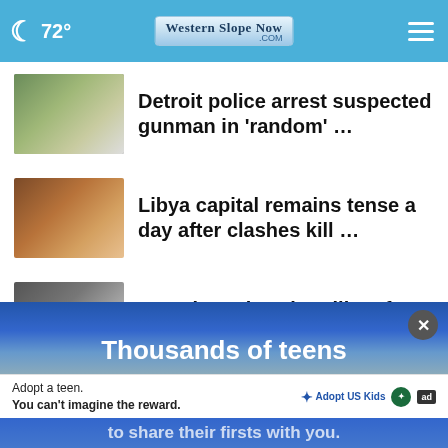72° Western Slope Now .COM
Detroit police arrest suspected gunman in 'random' …
Libya capital remains tense a day after clashes kill …
Francis praises humility of 13th-century pope who …
More Stories ›
[Figure (other): Advertisement banner: Thousands of teens - Adopt a teen. You can't imagine the reward. AdoptUSKids ad]
to share their firsts with you.